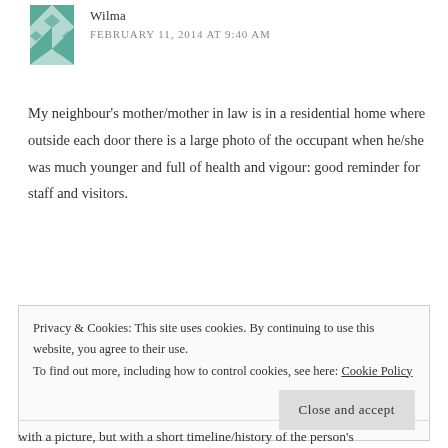[Figure (illustration): Teal/green decorative quilt-pattern avatar icon]
Wilma
FEBRUARY 11, 2014 AT 9:40 AM
My neighbour's mother/mother in law is in a residential home where outside each door there is a large photo of the occupant when he/she was much younger and full of health and vigour: good reminder for staff and visitors.
Like
Reply
Privacy & Cookies: This site uses cookies. By continuing to use this website, you agree to their use.
To find out more, including how to control cookies, see here: Cookie Policy
Close and accept
with a picture, but with a short timeline/history of the person's